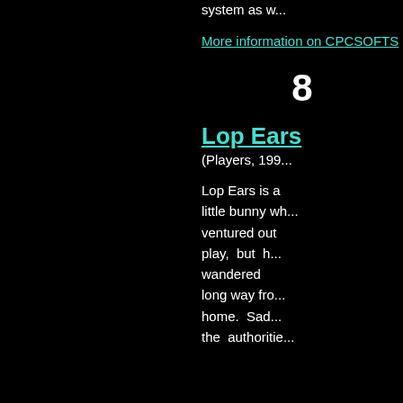system as we...
More information on CPCSOFTS
8
Lop Ears
(Players, 199...)
Lop Ears is a little bunny wh... ventured out play, but h... wandered long way fro... home. Sad... the authoritie...